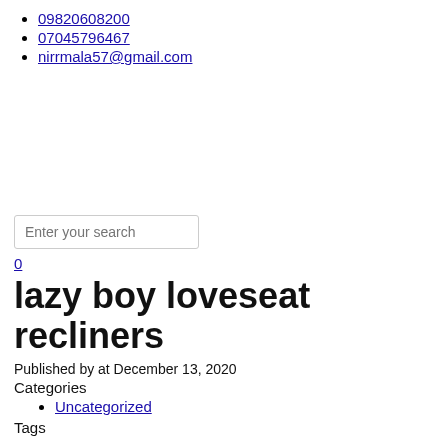09820608200
07045796467
nirrmala57@gmail.com
Enter your search
0
lazy boy loveseat recliners
Published by at December 13, 2020
Categories
Uncategorized
Tags